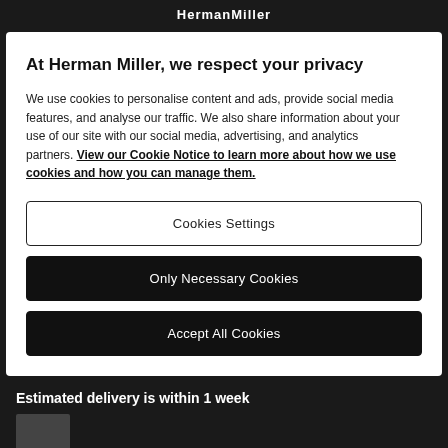HermanMiller
At Herman Miller, we respect your privacy
We use cookies to personalise content and ads, provide social media features, and analyse our traffic. We also share information about your use of our site with our social media, advertising, and analytics partners. View our Cookie Notice to learn more about how we use cookies and how you can manage them.
Cookies Settings
Only Necessary Cookies
Accept All Cookies
Estimated delivery is within 1 week